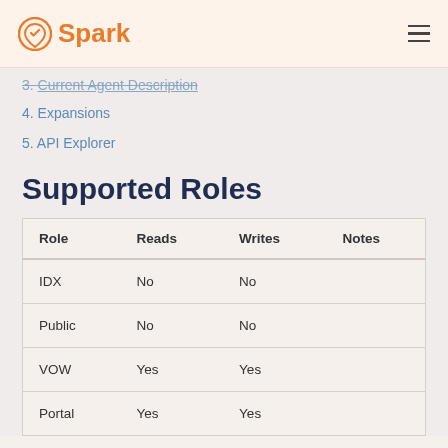Spark
3. Current Agent Description
4. Expansions
5. API Explorer
Supported Roles
| Role | Reads | Writes | Notes |
| --- | --- | --- | --- |
| IDX | No | No |  |
| Public | No | No |  |
| VOW | Yes | Yes |  |
| Portal | Yes | Yes |  |